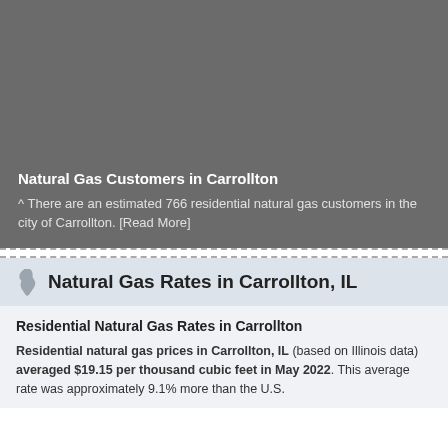Natural Gas Customers in Carrollton
^ There are an estimated 766 residential natural gas customers in the city of Carrollton. [Read More]
Natural Gas Rates in Carrollton, IL
Residential Natural Gas Rates in Carrollton
Residential natural gas prices in Carrollton, IL (based on Illinois data) averaged $19.15 per thousand cubic feet in May 2022. This average rate was approximately 9.1% more than the U.S. average rate of $17.55 per thousand cubic feet for residential customers.